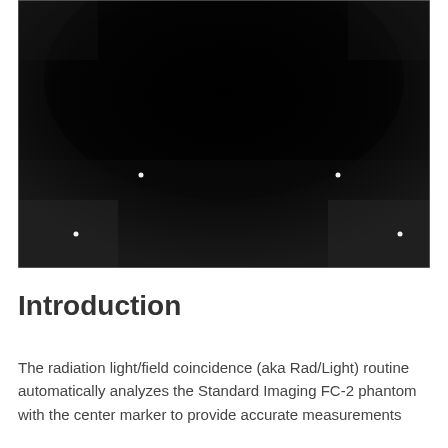[Figure (photo): Grayscale radiographic image of the Standard Imaging FC-2 phantom showing a dark field with four small bright white dot markers: two in the lower-left and lower-right corners, and two more positioned symmetrically in the upper-center area. The image has a dark black upper region fading to slightly lighter gray in the lower portion.]
Introduction
The radiation light/field coincidence (aka Rad/Light) routine automatically analyzes the Standard Imaging FC-2 phantom with the center marker to provide accurate measurements